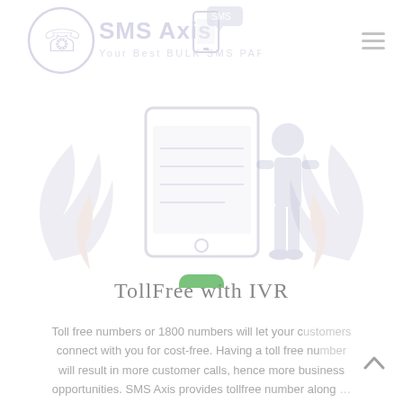SMS Axis – Your Best BULK SMS PARTNER
[Figure (illustration): Decorative illustration showing stylized plant leaves, a person standing by a large smartphone/tablet, and a green phone icon below. Rendered in very light gray/lavender tones as a watermark-style background image.]
TollFree with IVR
Toll free numbers or 1800 numbers will let your customers connect with you for cost-free. Having a toll free number will result in more customer calls, hence more business opportunities. SMS Axis provides tollfree number along ...